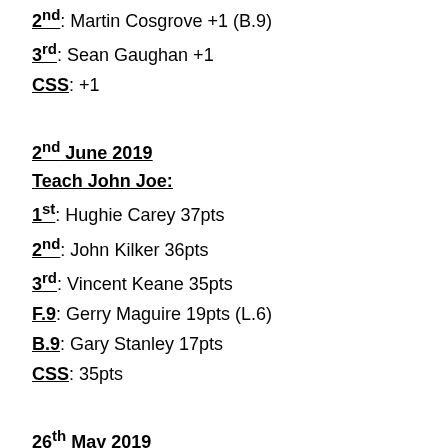2nd: Martin Cosgrove +1 (B.9)
3rd: Sean Gaughan +1
CSS: +1
2nd June 2019
Teach John Joe:
1st: Hughie Carey 37pts
2nd: John Kilker 36pts
3rd: Vincent Keane 35pts
F.9: Gerry Maguire 19pts (L.6)
B.9: Gary Stanley 17pts
CSS: 35pts
26th May 2019
John Lennon Transport: